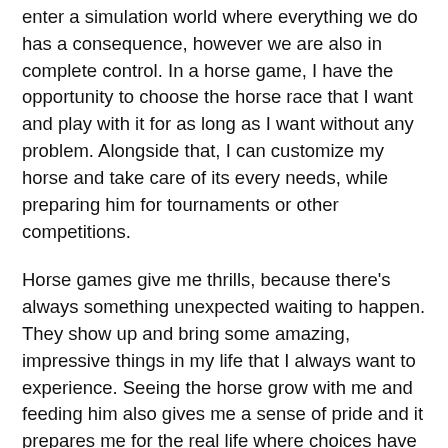enter a simulation world where everything we do has a consequence, however we are also in complete control. In a horse game, I have the opportunity to choose the horse race that I want and play with it for as long as I want without any problem. Alongside that, I can customize my horse and take care of its every needs, while preparing him for tournaments or other competitions.
Horse games give me thrills, because there's always something unexpected waiting to happen. They show up and bring some amazing, impressive things in my life that I always want to experience. Seeing the horse grow with me and feeding him also gives me a sense of pride and it prepares me for the real life where choices have real consequences. So horse games are more than a simple gaming genre, they have positive influences on the way we think and behave.